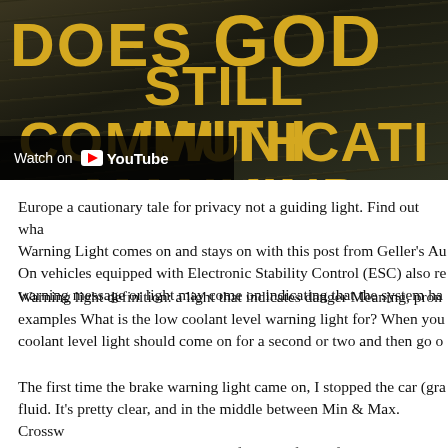[Figure (screenshot): YouTube video thumbnail showing bold gold text 'DOES GOD STILL COMMUNICATE WITH MANKIND' on dark background with road scene, with 'Watch on YouTube' overlay badge]
Europe a cautionary tale for privacy not a guiding light. Find out wha… Warning Light comes on and stays on with this post from Geller's Au… On vehicles equipped with Electronic Stability Control (ESC) also re… warning message or light may come on indicating that the system ha…
Warning light definition: a light that indicates danger Meaning, pron… examples What is the low coolant level warning light for? When you… coolant level light should come on for a second or two and then go o…
The first time the brake warning light came on, I stopped the car (gra… fluid. It's pretty clear, and in the middle between Min & Max. Crossw… Clues, synonyms, anagrams and definition of light for warning or gu…